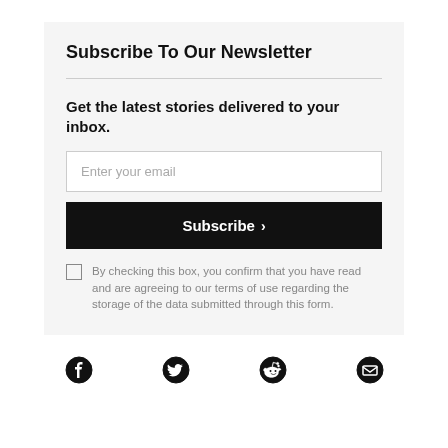Subscribe To Our Newsletter
Get the latest stories delivered to your inbox.
Enter your email
Subscribe >
By checking this box, you confirm that you have read and are agreeing to our terms of use regarding the storage of the data submitted through this form.
[Figure (infographic): Social media icons row: Facebook, Twitter, Reddit, Email]